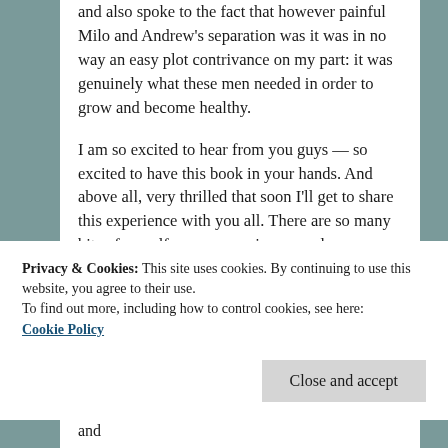and also spoke to the fact that however painful Milo and Andrew's separation was it was in no way an easy plot contrivance on my part: it was genuinely what these men needed in order to grow and become healthy.
I am so excited to hear from you guys — so excited to have this book in your hands. And above all, very thrilled that soon I'll get to share this experience with you all. There are so many bits of myself — my experiences and heartbreaks and personal triumphs — in these men and their stories. It feels like an honor to get to share that with readers as well.
Privacy & Cookies: This site uses cookies. By continuing to use this website, you agree to their use.
To find out more, including how to control cookies, see here:
Cookie Policy
Close and accept
What It Takes is currently available for pre-order and